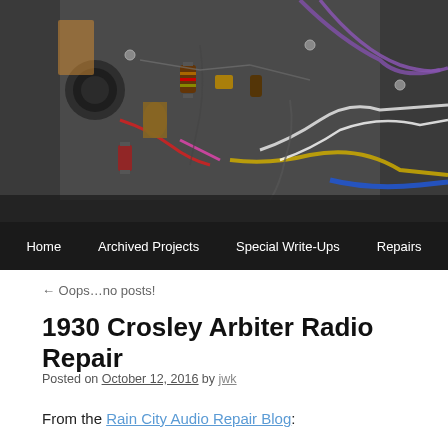[Figure (photo): Close-up photo of the inside of a vintage radio showing colorful wires, capacitors, resistors, and other electronic components on a metal chassis.]
Home | Archived Projects | Special Write-Ups | Repairs
← Oops…no posts!
1930 Crosley Arbiter Radio Repair
Posted on October 12, 2016 by jwk
From the Rain City Audio Repair Blog: